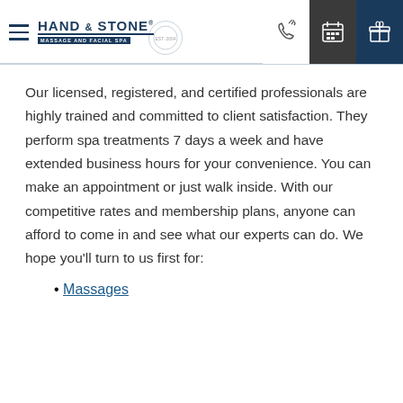Hand & Stone Massage and Facial Spa
Our licensed, registered, and certified professionals are highly trained and committed to client satisfaction. They perform spa treatments 7 days a week and have extended business hours for your convenience. You can make an appointment or just walk inside. With our competitive rates and membership plans, anyone can afford to come in and see what our experts can do. We hope you’ll turn to us first for:
Massages